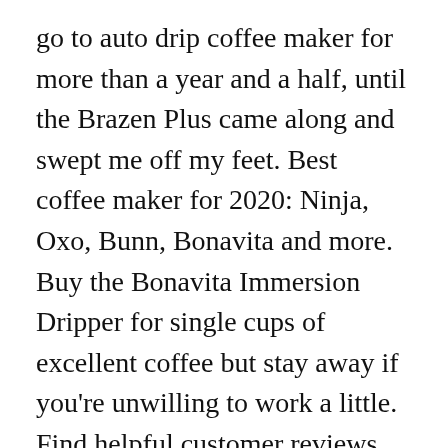go to auto drip coffee maker for more than a year and a half, until the Brazen Plus came along and swept me off my feet. Best coffee maker for 2020: Ninja, Oxo, Bunn, Bonavita and more. Buy the Bonavita Immersion Dripper for single cups of excellent coffee but stay away if you're unwilling to work a little. Find helpful customer reviews and review ratings for Bonavita BV1900TS 8-Cup One-Touch Coffee Maker Featuring Thermal Carafe, Stainless Steel at Amazon.com. These machines are specially designed and designed to do batch size functionality for 4-5 cup dimensions. Are you in pursuit of a coffeemaker but having no idea which one to buy? Bonavita Coffee Makers Reviews 2020 #01 – Bonavita BV1900TS 8-Cup